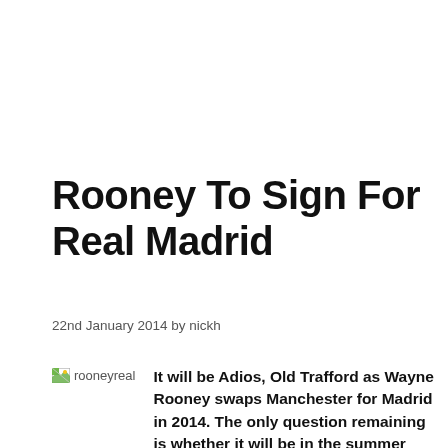Rooney To Sign For Real Madrid
22nd January 2014 by nickh
[Figure (photo): Broken image placeholder labeled 'rooneyreal']
It will be Adios, Old Trafford as Wayne Rooney swaps Manchester for Madrid in 2014. The only question remaining is whether it will be in the summer